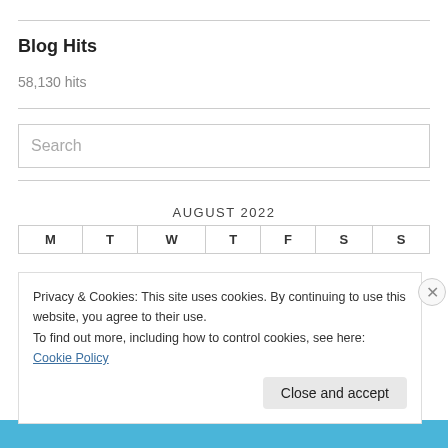Blog Hits
58,130 hits
[Figure (screenshot): Search input box with placeholder text 'Search']
AUGUST 2022
| M | T | W | T | F | S | S |
| --- | --- | --- | --- | --- | --- | --- |
Privacy & Cookies: This site uses cookies. By continuing to use this website, you agree to their use.
To find out more, including how to control cookies, see here: Cookie Policy
Close and accept